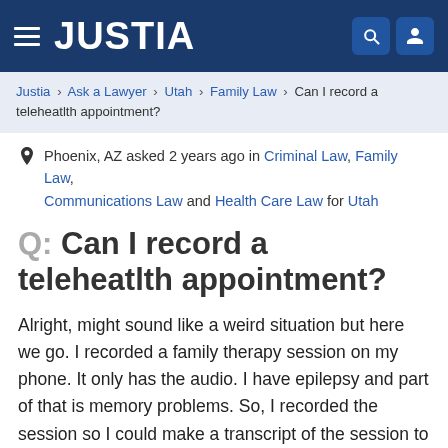JUSTIA
Justia › Ask a Lawyer › Utah › Family Law › Can I record a teleheatlth appointment?
Phoenix, AZ asked 2 years ago in Criminal Law, Family Law, Communications Law and Health Care Law for Utah
Q: Can I record a teleheatlth appointment?
Alright, might sound like a weird situation but here we go. I recorded a family therapy session on my phone. It only has the audio. I have epilepsy and part of that is memory problems. So, I recorded the session so I could make a transcript of the session to read over and understand better and remember better. And I did.